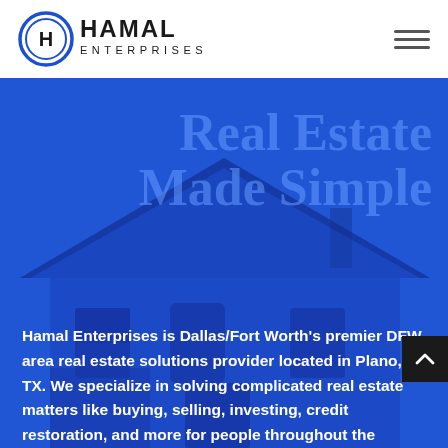[Figure (logo): Hamal Enterprises logo: circular emblem with H inside, next to bold text HAMAL ENTERPRISES]
[Figure (illustration): Hamburger/menu icon (three horizontal lines) in top right corner of header]
Real Estate Made Simple
[Figure (photo): Blue-tinted background photo of a suburban house with brick facade and blue overlay]
Hamal Enterprises is Dallas/Fort Worth's premier DFW area real estate solutions provider located in Plano, TX. We specialize in solving complicated real estate matters like buying, selling, investing, credit restoration, and more for people throughout the